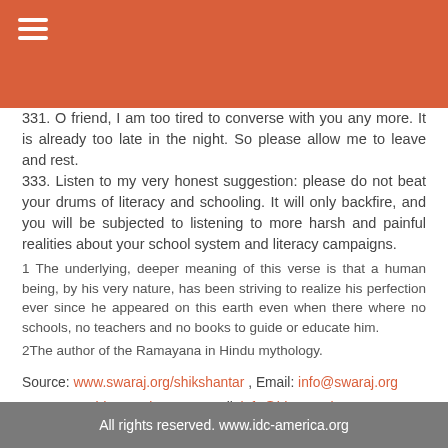≡
331. O friend, I am too tired to converse with you any more. It is already too late in the night. So please allow me to leave and rest.
333. Listen to my very honest suggestion: please do not beat your drums of literacy and schooling. It will only backfire, and you will be subjected to listening to more harsh and painful realities about your school system and literacy campaigns.
1 The underlying, deeper meaning of this verse is that a human being, by his very nature, has been striving to realize his perfection ever since he appeared on this earth even when there where no schools, no teachers and no books to guide or educate him.
2The author of the Ramayana in Hindu mythology.
Source: www.swaraj.org/shikshantar , Email: info@swaraj.org
IDCA: www.idc-america.org, Email: info@idc-america.org
All rights reserved. www.idc-america.org